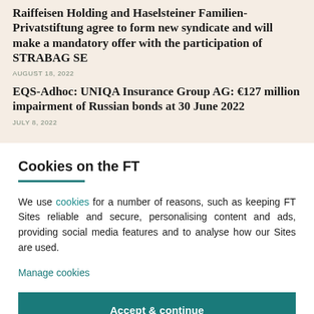Raiffeisen Holding and Haselsteiner Familien-Privatstiftung agree to form new syndicate and will make a mandatory offer with the participation of STRABAG SE
AUGUST 18, 2022
EQS-Adhoc: UNIQA Insurance Group AG: €127 million impairment of Russian bonds at 30 June 2022
JULY 8, 2022
Cookies on the FT
We use cookies for a number of reasons, such as keeping FT Sites reliable and secure, personalising content and ads, providing social media features and to analyse how our Sites are used.
Manage cookies
Accept & continue